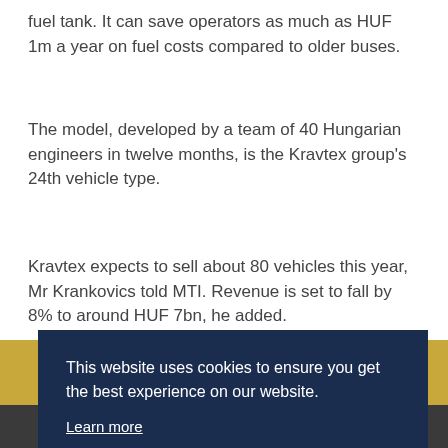fuel tank. It can save operators as much as HUF 1m a year on fuel costs compared to older buses.
The model, developed by a team of 40 Hungarian engineers in twelve months, is the Kravtex group's 24th vehicle type.
Kravtex expects to sell about 80 vehicles this year, Mr Krankovics told MTI. Revenue is set to fall by 8% to around HUF 7bn, he added.
This website uses cookies to ensure you get the best experience on our website.
Learn more
Decline    Allow cookies